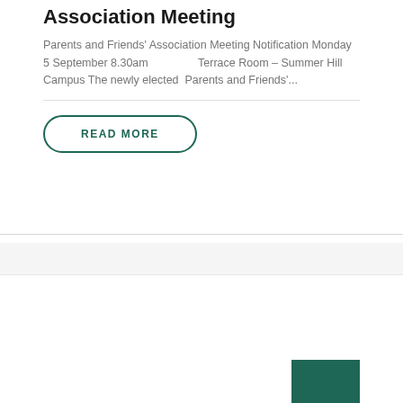Association Meeting
Parents and Friends' Association Meeting Notification Monday 5 September 8.30am                  Terrace Room – Summer Hill Campus The newly elected  Parents and Friends'...
READ MORE
[Figure (other): Partial green rectangle visible at bottom right of page, part of a card or image block]